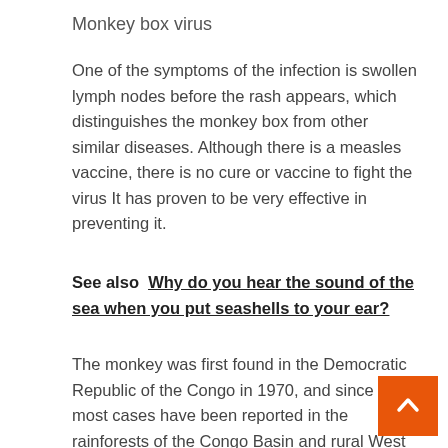Monkey box virus
One of the symptoms of the infection is swollen lymph nodes before the rash appears, which distinguishes the monkey box from other similar diseases. Although there is a measles vaccine, there is no cure or vaccine to fight the virus It has proven to be very effective in preventing it.
See also  Why do you hear the sound of the sea when you put seashells to your ear?
The monkey was first found in the Democratic Republic of the Congo in 1970, and since then most cases have been reported in the rainforests of the Congo Basin and rural West Africa.